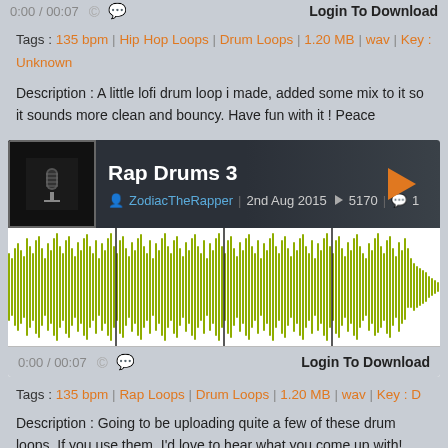0:00 / 00:07  Login To Download
Tags : 135 bpm | Hip Hop Loops | Drum Loops | 1.20 MB | wav | Key : Unknown
Description : A little lofi drum loop i made, added some mix to it so it sounds more clean and bouncy. Have fun with it ! Peace
[Figure (screenshot): Rap Drums 3 audio player card with waveform, by ZodiacTheRapper, 2nd Aug 2015, 5170 plays, 1 comment]
0:00 / 00:07  Login To Download
Tags : 135 bpm | Rap Loops | Drum Loops | 1.20 MB | wav | Key : D
Description : Going to be uploading quite a few of these drum loops. If you use them, I'd love to hear what you come up with!